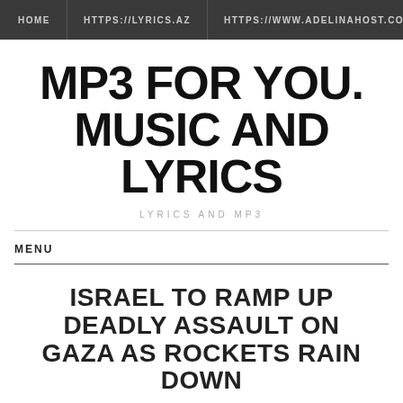HOME   HTTPS://LYRICS.AZ   HTTPS://WWW.ADELINAHOST.COM
MP3 FOR YOU. MUSIC AND LYRICS
LYRICS AND MP3
MENU
ISRAEL TO RAMP UP DEADLY ASSAULT ON GAZA AS ROCKETS RAIN DOWN
12.05.2021  /  MP3